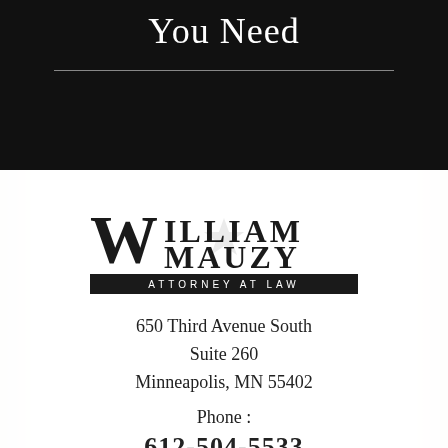You Need
[Figure (logo): William Mauzy Attorney at Law logo — stylized W with text WILLIAM MAUZY and ATTORNEY AT LAW in a black bar below]
650 Third Avenue South
Suite 260
Minneapolis, MN 55402
Phone :
612-504-5533